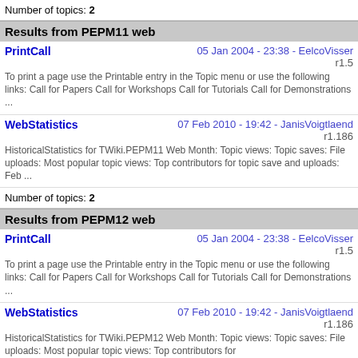Number of topics: 2
Results from PEPM11 web
PrintCall   05 Jan 2004 - 23:38 - EelcoVisser r1.5
To print a page use the Printable entry in the Topic menu or use the following links: Call for Papers Call for Workshops Call for Tutorials Call for Demonstrations ...
WebStatistics   07 Feb 2010 - 19:42 - JanisVoigtlaend r1.186
HistoricalStatistics for TWiki.PEPM11 Web Month: Topic views: Topic saves: File uploads: Most popular topic views: Top contributors for topic save and uploads: Feb ...
Number of topics: 2
Results from PEPM12 web
PrintCall   05 Jan 2004 - 23:38 - EelcoVisser r1.5
To print a page use the Printable entry in the Topic menu or use the following links: Call for Papers Call for Workshops Call for Tutorials Call for Demonstrations ...
WebStatistics   07 Feb 2010 - 19:42 - JanisVoigtlaend r1.186
HistoricalStatistics for TWiki.PEPM12 Web Month: Topic views: Topic saves: File uploads: Most popular topic views: Top contributors for